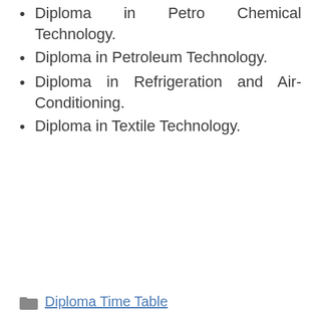Diploma in Petro Chemical Technology.
Diploma in Petroleum Technology.
Diploma in Refrigeration and Air-Conditioning.
Diploma in Textile Technology.
Diploma Time Table